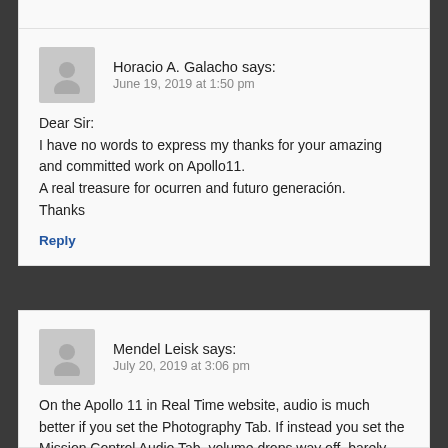Horacio A. Galacho says:
June 19, 2019 at 1:50 pm

Dear Sir:
I have no words to express my thanks for your amazing and committed work on Apollo11.
A real treasure for ocurren and futuro generación.
Thanks

Reply
Mendel Leisk says:
July 20, 2019 at 3:06 pm

On the Apollo 11 in Real Time website, audio is much better if you set the Photography Tab. If instead you set the Mission Control Audio Tab, volume drops way off, barely audible.